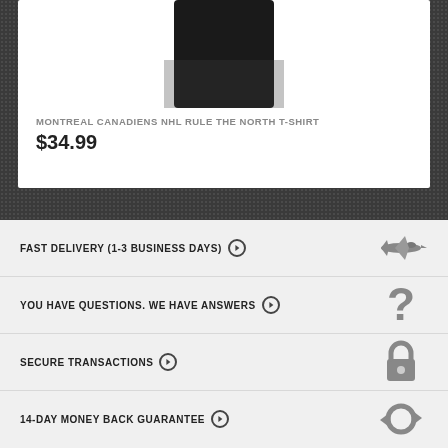[Figure (photo): Black t-shirt product image, bottom portion visible]
MONTREAL CANADIENS NHL RULE THE NORTH T-SHIRT
$34.99
FAST DELIVERY (1-3 BUSINESS DAYS)
YOU HAVE QUESTIONS. WE HAVE ANSWERS
SECURE TRANSACTIONS
14-DAY MONEY BACK GUARANTEE